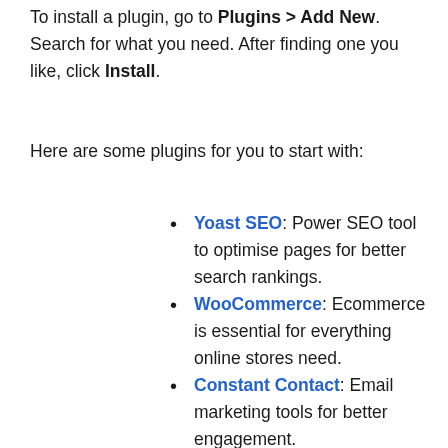To install a plugin, go to Plugins > Add New. Search for what you need. After finding one you like, click Install.
Here are some plugins for you to start with:
Yoast SEO: Power SEO tool to optimise pages for better search rankings.
WooCommerce: Ecommerce is essential for everything online stores need.
Constant Contact: Email marketing tools for better engagement.
Akismet Anti-Spam: Prevent spam and other attacks.